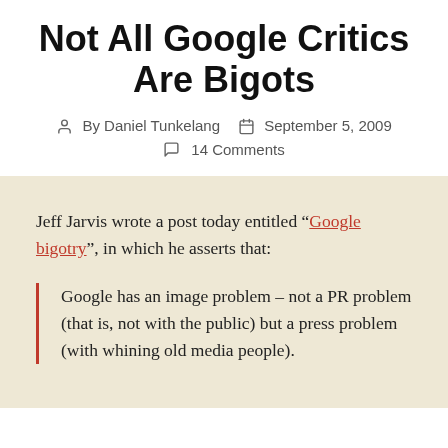Not All Google Critics Are Bigots
By Daniel Tunkelang  September 5, 2009
14 Comments
Jeff Jarvis wrote a post today entitled “Google bigotry”, in which he asserts that:
Google has an image problem – not a PR problem (that is, not with the public) but a press problem (with whining old media people).